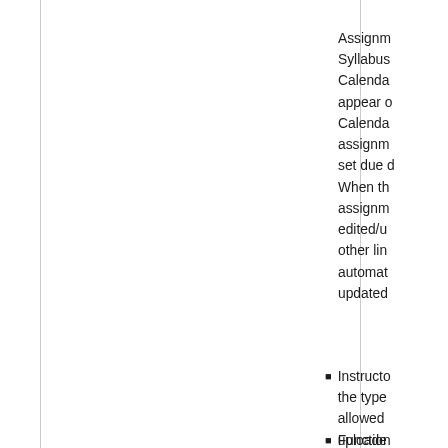Assignments, Syllabus, and Calendar appear on the Calendar when assignments set due dates. When the assignment is edited/updated, other linked items automatically updated.
Instructors set the type of media allowed to be uploaded.
Functionality require Peer Reviews.